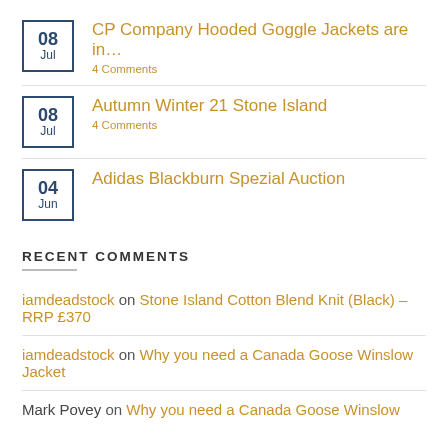08 Jul — CP Company Hooded Goggle Jackets are in… — 4 Comments
08 Jul — Autumn Winter 21 Stone Island — 4 Comments
04 Jun — Adidas Blackburn Spezial Auction
RECENT COMMENTS
iamdeadstock on Stone Island Cotton Blend Knit (Black) – RRP £370
iamdeadstock on Why you need a Canada Goose Winslow Jacket
Mark Povey on Why you need a Canada Goose Winslow